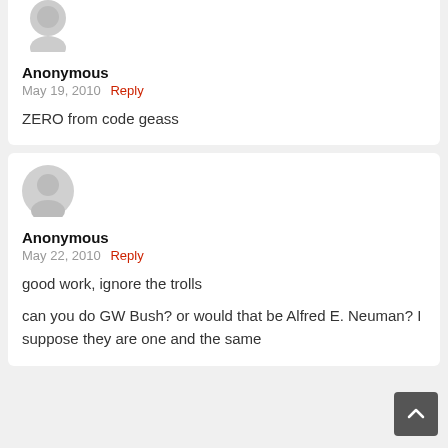[Figure (illustration): Grey anonymous user avatar (top portion visible, clipped at top)]
Anonymous
May 19, 2010  Reply
ZERO from code geass
[Figure (illustration): Grey anonymous user avatar silhouette, full circle]
Anonymous
May 22, 2010  Reply
good work, ignore the trolls

can you do GW Bush? or would that be Alfred E. Neuman? I suppose they are one and the same